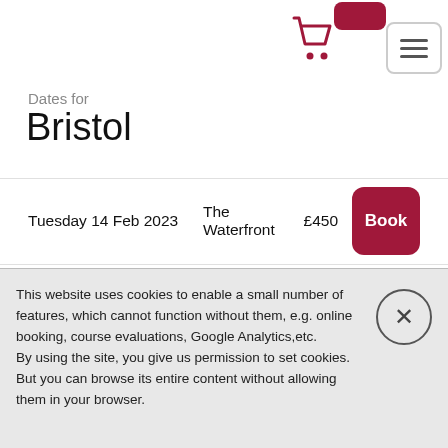[Figure (screenshot): Shopping cart icon (dark red/crimson) and a hamburger menu button in top right area]
Dates for
Bristol
Tuesday 14 Feb 2023   The Waterfront   £450   Book
Tuesday 30 May 2023   The Waterfront   £450   Book
This website uses cookies to enable a small number of features, which cannot function without them, e.g. online booking, course evaluations, Google Analytics,etc.
By using the site, you give us permission to set cookies.
But you can browse its entire content without allowing them in your browser.